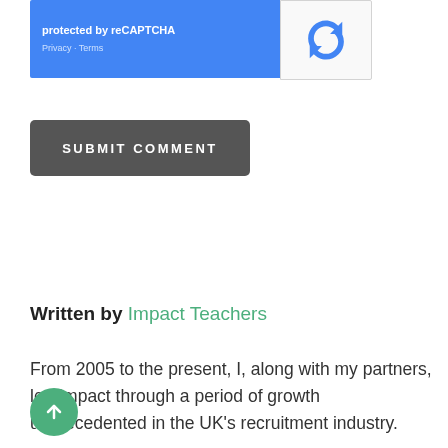[Figure (screenshot): reCAPTCHA widget with blue background showing 'protected by reCAPTCHA' text and Privacy/Terms links, with reCAPTCHA logo on right side]
SUBMIT COMMENT
Written by Impact Teachers
From 2005 to the present, I, along with my partners, led Impact through a period of growth unprecedented in the UK's recruitment industry.